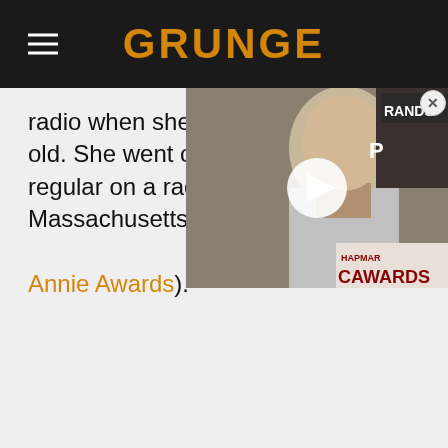GRUNGE
radio when she was just 12 years old. She went on to become a regular on a radio st… Massachusetts, but by 17, she w… Annie Awards).
[Figure (screenshot): Video overlay thumbnail showing a tattooed man at an awards event, with a play button overlay and close button. Annie Awards logo visible in background.]